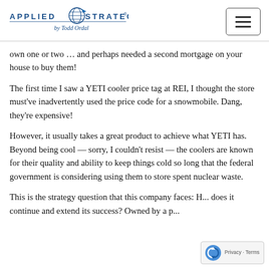Applied Strategy by Todd Ordal
own one or two … and perhaps needed a second mortgage on your house to buy them!
The first time I saw a YETI cooler price tag at REI, I thought the store must've inadvertently used the price code for a snowmobile. Dang, they're expensive!
However, it usually takes a great product to achieve what YETI has. Beyond being cool — sorry, I couldn't resist — the coolers are known for their quality and ability to keep things cold so long that the federal government is considering using them to store spent nuclear waste.
This is the strategy question that this company faces: How does it continue and extend its success? Owned by a p...